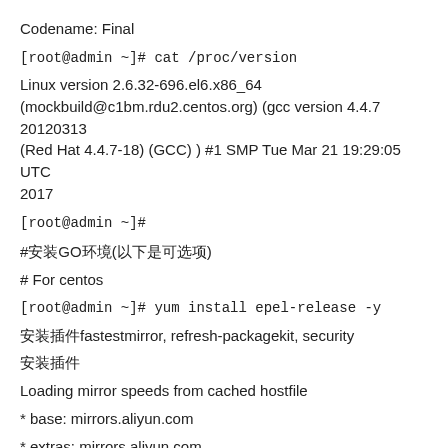Codename: Final
[root@admin ~]# cat /proc/version
Linux version 2.6.32-696.el6.x86_64 (mockbuild@c1bm.rdu2.centos.org) (gcc version 4.4.7 20120313 (Red Hat 4.4.7-18) (GCC) ) #1 SMP Tue Mar 21 19:29:05 UTC 2017
[root@admin ~]#
#安装GO环境(以下是可选项)
# For centos
[root@admin ~]# yum install epel-release -y
安装插件fastestmirror, refresh-packagekit, security
安装插件
Loading mirror speeds from cached hostfile
* base: mirrors.aliyun.com
* extras: mirrors.aliyun.com
* updates: mirror.bit.edu.cn